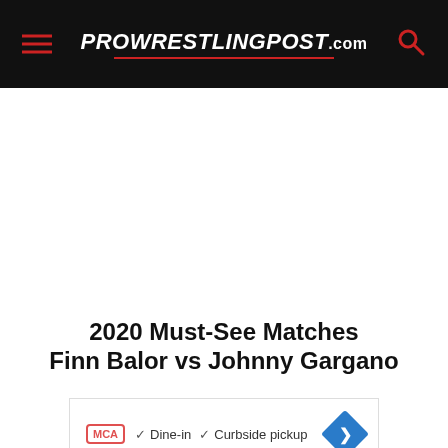ProWrestlingPost.com
2020 Must-See Matches
Finn Balor vs Johnny Gargano
[Figure (other): Advertisement banner with MCA badge, Dine-in and Curbside pickup checkmarks, navigation diamond arrow, play and close buttons]